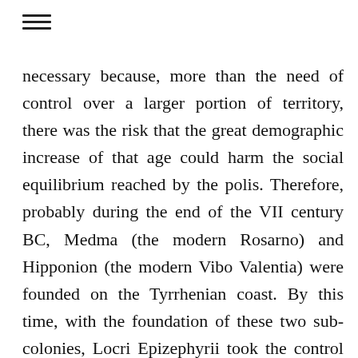≡
necessary because, more than the need of control over a larger portion of territory, there was the risk that the great demographic increase of that age could harm the social equilibrium reached by the polis. Therefore, probably during the end of the VII century BC, Medma (the modern Rosarno) and Hipponion (the modern Vibo Valentia) were founded on the Tyrrhenian coast. By this time, with the foundation of these two sub-colonies, Locri Epizephyrii took the control of a large part of territory, spreading from the Ionian to the Tyrrhenian coasts and embracing the mountains between the two seas; this expansion created the